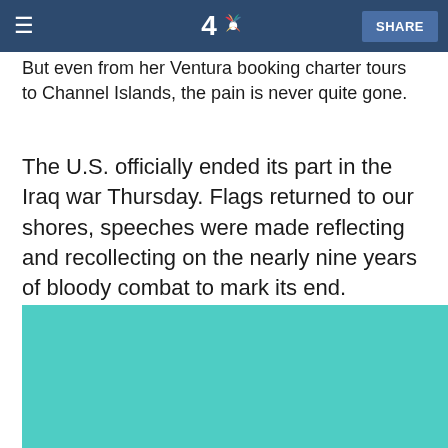≡  4 NBC  SHARE
But even from her Ventura booking charter tours to Channel Islands, the pain is never quite gone.
The U.S. officially ended its part in the Iraq war Thursday. Flags returned to our shores, speeches were made reflecting and recollecting on the nearly nine years of bloody combat to mark its end.
[Figure (photo): Teal/turquoise colored image block, content not visible]